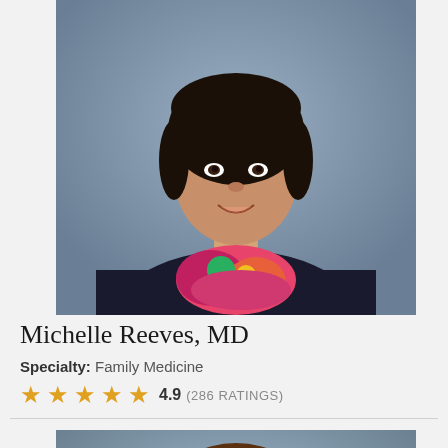[Figure (photo): Professional headshot of Michelle Reeves, MD - Asian woman with short dark hair, wearing a dark blazer and colorful floral scarf/neckerchief, smiling, against grey/blue background]
Michelle Reeves, MD
Specialty: Family Medicine
4.9 (286 RATINGS)
[Figure (photo): Professional headshot of a male doctor - man with brown hair, glasses, wearing dark suit and red tie, smiling, against blue-grey background]